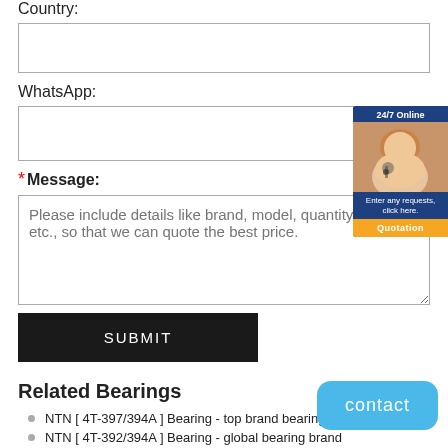Country:
(Country input field)
WhatsApp:
(WhatsApp input field)
* Message:
Please include details like brand, model, quantity a etc., so that we can quote the best price.
SUBMIT
Related Bearings
NTN [ 4T-397/394A ] Bearing - top brand bearing
NTN [ 4T-392/394A ] Bearing - global bearing brand
NTN [ 4T-390/394A ] Bearing - ...